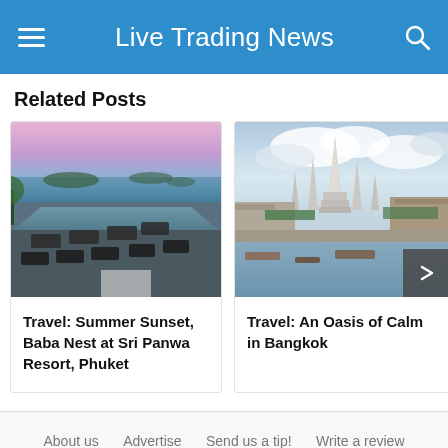Live Trading News
Related Posts
[Figure (photo): Aerial view of a luxury resort pool with sun loungers overlooking the sea at sunset, Baba Nest at Sri Panwa Resort, Phuket]
Travel: Summer Sunset, Baba Nest at Sri Panwa Resort, Phuket
[Figure (photo): Cityscape of Bangkok featuring Wat Arun temple with boats on the river and cloudy sky]
Travel: An Oasis of Calm in Bangkok
About us   Advertise   Send us a tip!   Write a review   Contact us